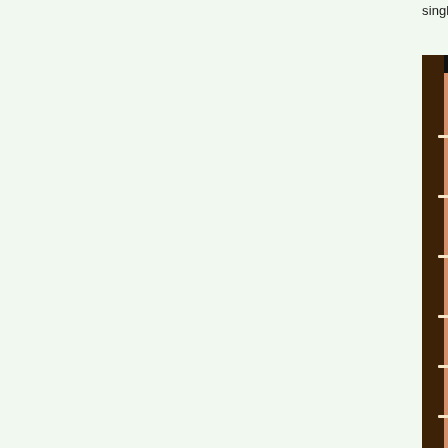single block in the center.
[Figure (photo): A quilt displayed on a frame or wall, featuring a repeated block pattern on a salmon/orange background. The blocks are octagon-shaped with diamond centers in various colors including blue, navy, red, gray, and pink, arranged in a diagonal grid pattern.]